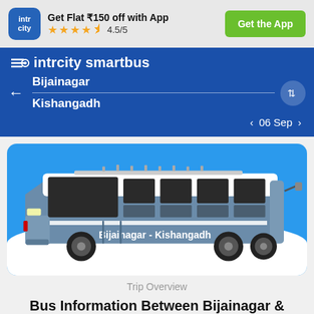Get Flat ₹150 off with App  ★★★★½ 4.5/5   Get the App
intrcity smartbus
Bijainagar
Kishangadh
06 Sep
[Figure (illustration): A blue intercity smart bus with 'Bijainagar - Kishangadh' written on its side, set against a blue background card with a white wave at the bottom.]
Trip Overview
Bus Information Between Bijainagar &